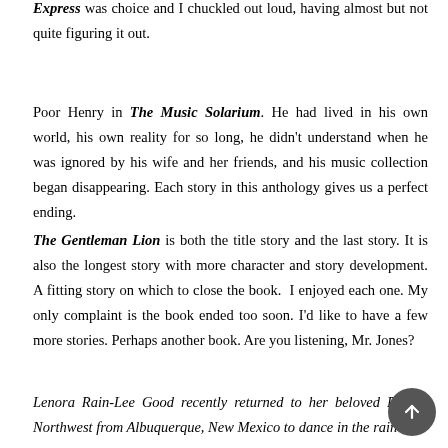Express was choice and I chuckled out loud, having almost but not quite figuring it out.
Poor Henry in The Music Solarium. He had lived in his own world, his own reality for so long, he didn't understand when he was ignored by his wife and her friends, and his music collection began disappearing. Each story in this anthology gives us a perfect ending.
The Gentleman Lion is both the title story and the last story. It is also the longest story with more character and story development. A fitting story on which to close the book.  I enjoyed each one. My only complaint is the book ended too soon. I'd like to have a few more stories. Perhaps another book. Are you listening, Mr. Jones?
Lenora Rain-Lee Good recently returned to her beloved Pacific Northwest from Albuquerque, New Mexico to dance in the rain